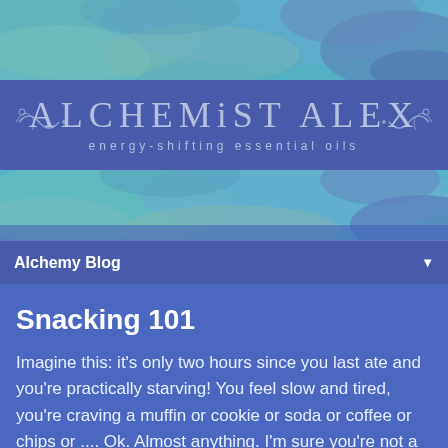[Figure (illustration): Watercolor-style header image with teal, blue, green and purple hues at the top of the page]
ALCHEMiST ALEX
energy-shifting essential oils
Alchemy Blog ▼
Snacking 101
Imagine this: it's only two hours since you last ate and you're practically starving! You feel slow and tired, you're craving a muffin or cookie or soda or coffee or chips or .... Ok. Almost anything. I'm sure you're not a fan of sitting at your desk struggling to focus, feeling hazy and heavy midday at your computer. What's the deal? Why do I feel like a lump? And what